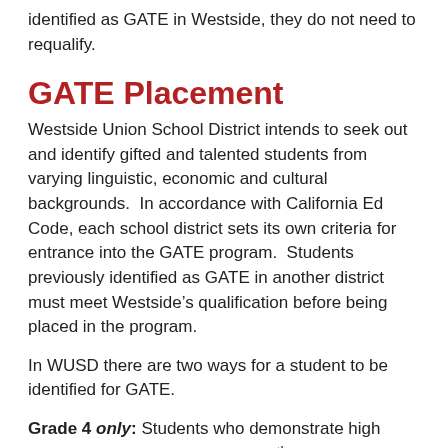identified as GATE in Westside, they do not need to requalify.
GATE Placement
Westside Union School District intends to seek out and identify gifted and talented students from varying linguistic, economic and cultural backgrounds.  In accordance with California Ed Code, each school district sets its own criteria for entrance into the GATE program.  Students previously identified as GATE in another district must meet Westside’s qualification before being placed in the program.
In WUSD there are two ways for a student to be identified for GATE.
Grade 4 only: Students who demonstrate high achievement by scoring in the 97th percentile or above on a nationally standardized, norm-referenced, group